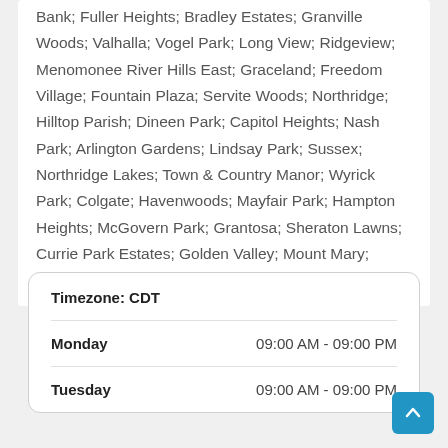Bank; Fuller Heights; Bradley Estates; Granville Woods; Valhalla; Vogel Park; Long View; Ridgeview; Menomonee River Hills East; Graceland; Freedom Village; Fountain Plaza; Servite Woods; Northridge; Hilltop Parish; Dineen Park; Capitol Heights; Nash Park; Arlington Gardens; Lindsay Park; Sussex; Northridge Lakes; Town & Country Manor; Wyrick Park; Colgate; Havenwoods; Mayfair Park; Hampton Heights; McGovern Park; Grantosa; Sheraton Lawns; Currie Park Estates; Golden Valley; Mount Mary; Columbus Park; Tripoli Park.
|  |  |
| --- | --- |
| Timezone: CDT |  |
| Monday | 09:00 AM - 09:00 PM |
| Tuesday | 09:00 AM - 09:00 PM |